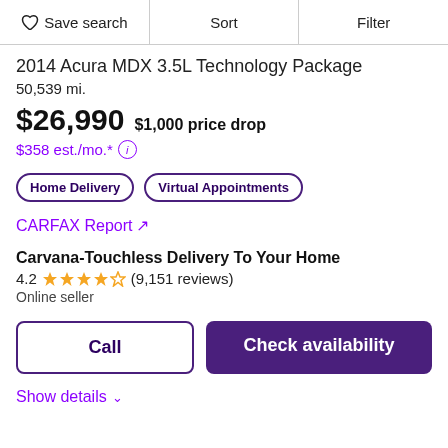Save search | Sort | Filter
2014 Acura MDX 3.5L Technology Package
50,539 mi.
$26,990  $1,000 price drop
$358 est./mo.*
Home Delivery
Virtual Appointments
CARFAX Report ↗
Carvana-Touchless Delivery To Your Home
4.2 ★★★★☆ (9,151 reviews)
Online seller
Call
Check availability
Show details ∨